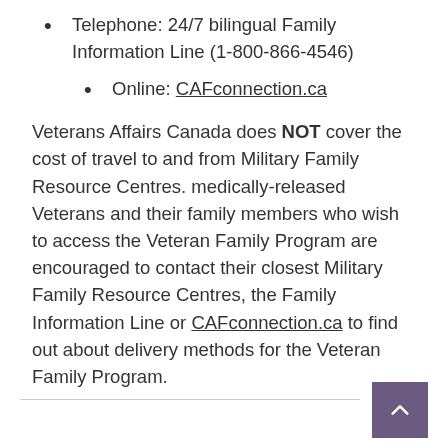Telephone: 24/7 bilingual Family Information Line (1-800-866-4546)
Online: CAFconnection.ca
Veterans Affairs Canada does NOT cover the cost of travel to and from Military Family Resource Centres. medically-released Veterans and their family members who wish to access the Veteran Family Program are encouraged to contact their closest Military Family Resource Centres, the Family Information Line or CAFconnection.ca to find out about delivery methods for the Veteran Family Program.